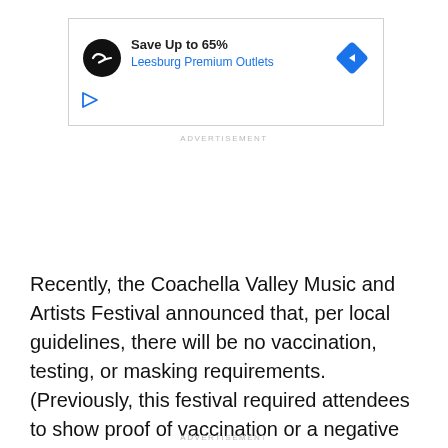[Figure (screenshot): Advertisement banner for Leesburg Premium Outlets: black circle logo with infinity-style icon, text 'Save Up to 65%' and 'Leesburg Premium Outlets' in blue, blue diamond navigation arrow icon on right, small play/audio icon bottom left.]
ADVERTISEMENT
Recently, the Coachella Valley Music and Artists Festival announced that, per local guidelines, there will be no vaccination, testing, or masking requirements. (Previously, this festival required attendees to show proof of vaccination or a negative test result.)
ADVERTISEMENT